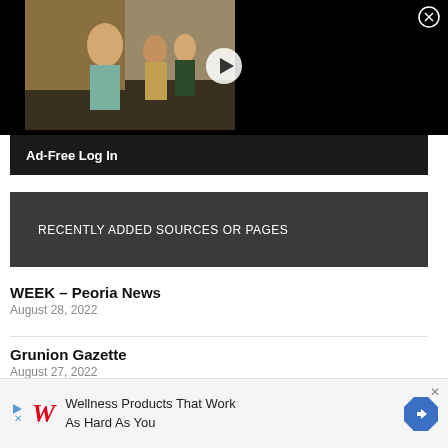[Figure (photo): Video thumbnail showing children outside a school, with a white play button triangle overlay. Black background surrounds the video. A circular close/X button is in the top-right corner.]
Ad-Free Log In
RECENTLY ADDED SOURCES OR PAGES
WEEK – Peoria News
August 28, 2022
Grunion Gazette
August 27, 2022
[Figure (infographic): Advertisement banner for Walgreens: Wellness Products That Work As Hard As You. Features Walgreens W logo in red italic, a blue play/close icon on left, and a blue diamond arrow icon on right.]